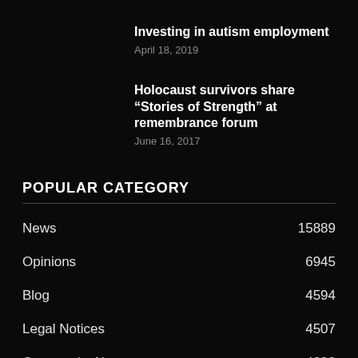Investing in autism employment
April 18, 2019
Holocaust survivors share “Stories of Strength” at remembrance forum
June 16, 2017
POPULAR CATEGORY
News 15889
Opinions 6945
Blog 4594
Legal Notices 4507
Community News 4293
New Hyde Park Herald Courier 3295